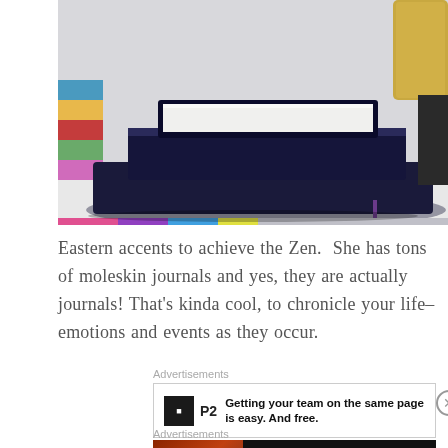[Figure (photo): Stack of dark navy moleskin journals/notebooks on a white surface, with colorful books visible on the left edge and a gold decorative item on the right]
Eastern accents to achieve the Zen. She has tons of moleskin journals and yes, they are actually journals! That's kinda cool, to chronicle your life– emotions and events as they occur.
Advertisements
[Figure (screenshot): P2 advertisement: Getting your team on the same page is easy. And free.]
Advertisements
[Figure (screenshot): Seamless food delivery advertisement with pizza image, seamless logo and ORDER NOW button]